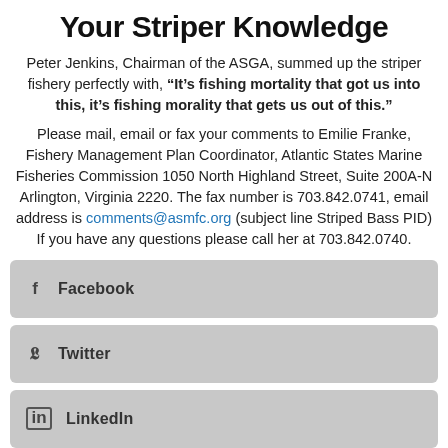Your Striper Knowledge
Peter Jenkins, Chairman of the ASGA, summed up the striper fishery perfectly with, “It’s fishing mortality that got us into this, it’s fishing morality that gets us out of this.”
Please mail, email or fax your comments to Emilie Franke, Fishery Management Plan Coordinator, Atlantic States Marine Fisheries Commission 1050 North Highland Street, Suite 200A-N Arlington, Virginia 2220. The fax number is 703.842.0741, email address is comments@asmfc.org (subject line Striped Bass PID) If you have any questions please call her at 703.842.0740.
Facebook
Twitter
LinkedIn